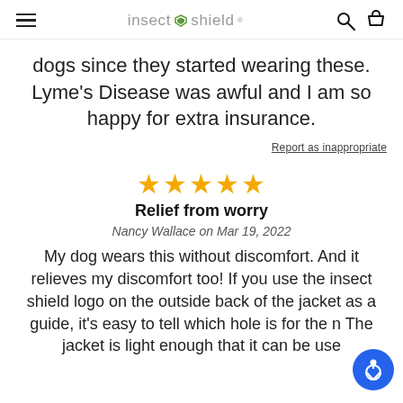insect shield
dogs since they started wearing these. Lyme's Disease was awful and I am so happy for extra insurance.
Report as inappropriate
★★★★★
Relief from worry
Nancy Wallace on Mar 19, 2022
My dog wears this without discomfort. And it relieves my discomfort too! If you use the insect shield logo on the outside back of the jacket as a guide, it's easy to tell which hole is for the n... The jacket is light enough that it can be use... hot weather. A great addition to the insect shield...